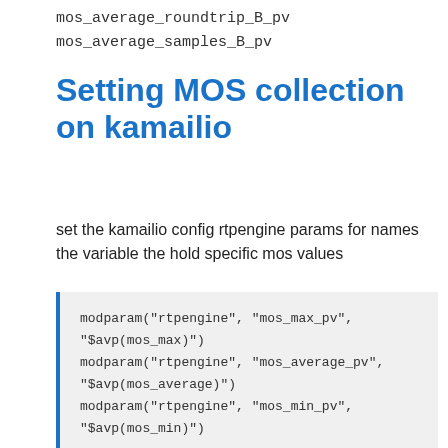mos_average_roundtrip_B_pv
mos_average_samples_B_pv
Setting MOS collection on kamailio
set the kamailio config rtpengine params for names the variable the hold specific mos values
modparam("rtpengine", "mos_max_pv",
"$avp(mos_max)")
modparam("rtpengine", "mos_average_pv",
"$avp(mos_average)")
modparam("rtpengine", "mos_min_pv",
"$avp(mos_min)")

modparam("rtpengine",
"mos_average_packetloss_pv",
"$avp(mos_average_packetloss)")